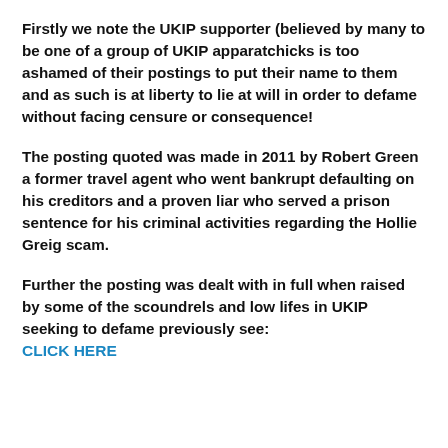Firstly we note the UKIP supporter (believed by many to be one of a group of UKIP apparatchicks is too ashamed of their postings to put their name to them and as such is at liberty to lie at will in order to defame without facing censure or consequence!
The posting quoted was made in 2011 by Robert Green a former travel agent who went bankrupt defaulting on his creditors and a proven liar who served a prison sentence for his criminal activities regarding the Hollie Greig scam.
Further the posting was dealt with in full when raised by some of the scoundrels and low lifes in UKIP seeking to defame previously see: CLICK HERE